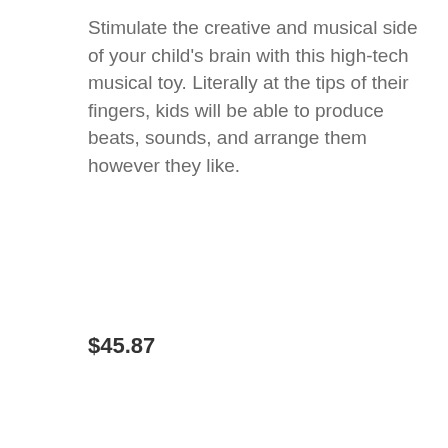Stimulate the creative and musical side of your child's brain with this high-tech musical toy. Literally at the tips of their fingers, kids will be able to produce beats, sounds, and arrange them however they like.
$45.87